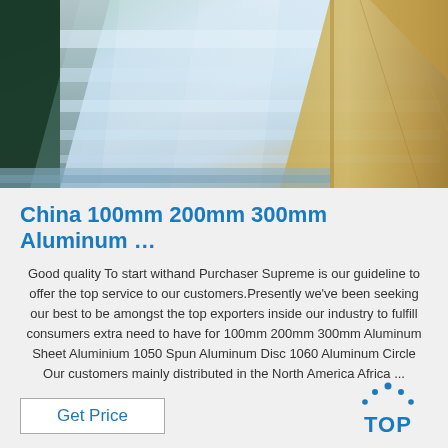[Figure (photo): Photograph of stacked aluminum sheets/circles with metallic silver surface, partially wrapped in brown kraft paper packaging, viewed from above at an angle.]
China 100mm 200mm 300mm Aluminum …
Good quality To start withand Purchaser Supreme is our guideline to offer the top service to our customers.Presently we've been seeking our best to be amongst the top exporters inside our industry to fulfill consumers extra need to have for 100mm 200mm 300mm Aluminum Sheet Aluminium 1050 Spun Aluminum Disc 1060 Aluminum Circle Our customers mainly distributed in the North America Africa ...
[Figure (logo): TOP logo in blue with dotted arc above the word TOP in bold blue letters]
Get Price